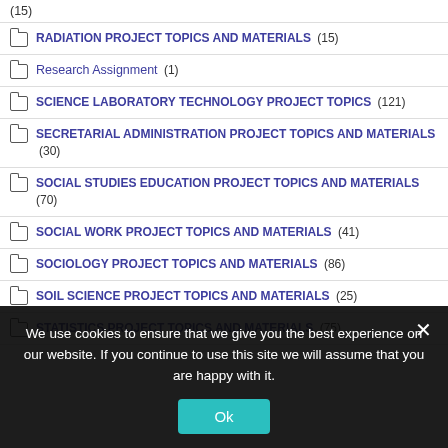(15)
RADIATION PROJECT TOPICS AND MATERIALS (15)
Research Assignment (1)
SCIENCE LABORATORY TECHNOLOGY PROJECT TOPICS (121)
SECRETARIAL ADMINISTRATION PROJECT TOPICS AND MATERIALS (30)
SOCIAL STUDIES EDUCATION PROJECT TOPICS AND MATERIALS (70)
SOCIAL WORK PROJECT TOPICS AND MATERIALS (41)
SOCIOLOGY PROJECT TOPICS AND MATERIALS (86)
SOIL SCIENCE PROJECT TOPICS AND MATERIALS (25)
STATISTICS PROJECT TOPICS AND MATERIALS (75)
We use cookies to ensure that we give you the best experience on our website. If you continue to use this site we will assume that you are happy with it.